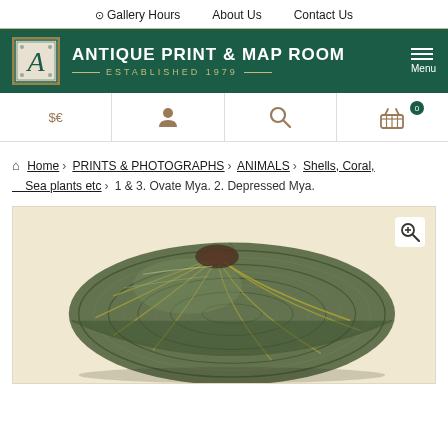Gallery Hours  About Us  Contact Us
[Figure (logo): Antique Print & Map Room logo with decorative letter A and brand name]
[Figure (infographic): Icon bar with currency selector ($€), user account, search, and shopping cart icons]
Home › PRINTS & PHOTOGRAPHS › ANIMALS › Shells, Coral, Sea plants etc › 1 & 3. Ovate Mya. 2. Depressed Mya.
[Figure (photo): Botanical/natural history illustration of a green-banded freshwater mussel shell (Mya), shown from the side with concentric growth rings and yellow-green banding patterns on a cream background.]